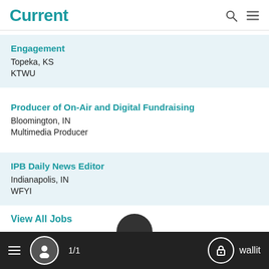Current
Engagement
Topeka, KS
KTWU
Producer of On-Air and Digital Fundraising
Bloomington, IN
Multimedia Producer
IPB Daily News Editor
Indianapolis, IN
WFYI
View All Jobs
1/1  wallit